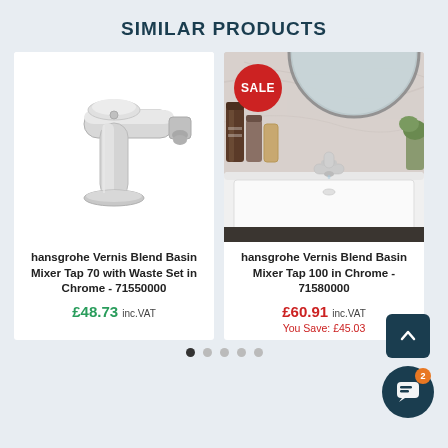SIMILAR PRODUCTS
[Figure (photo): Product photo of hansgrohe Vernis Blend Basin Mixer Tap 70 with Waste Set in Chrome on white background]
hansgrohe Vernis Blend Basin Mixer Tap 70 with Waste Set in Chrome - 71550000
£48.73 inc.VAT
[Figure (photo): Bathroom photo of hansgrohe Vernis Blend Basin Mixer Tap 100 in Chrome installed on a white basin with a SALE badge]
hansgrohe Vernis Blend Basin Mixer Tap 100 in Chrome - 71580000
£60.91 inc.VAT
You Save: £45.03